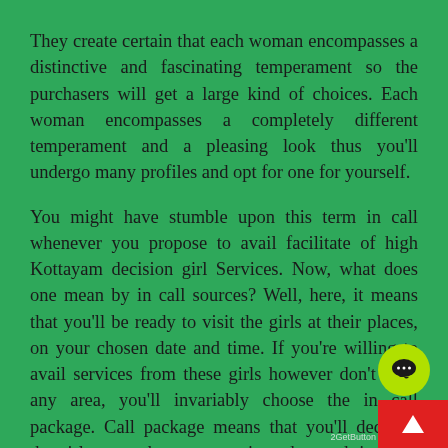They create certain that each woman encompasses a distinctive and fascinating temperament so the purchasers will get a large kind of choices. Each woman encompasses a completely different temperament and a pleasing look thus you'll undergo many profiles and opt for one for yourself.
You might have stumble upon this term in call whenever you propose to avail facilitate of high Kottayam decision girl Services. Now, what does one mean by in call sources? Well, here, it means that you'll be ready to visit the girls at their places, on your chosen date and time. If you're willing to avail services from these girls however don't have any area, you'll invariably choose the in call package. Call package means that you'll decision the girl at your house, on a given date and time. it's somewhat a touch bit dearer in comparison with the in call service, as here; you've got to pay